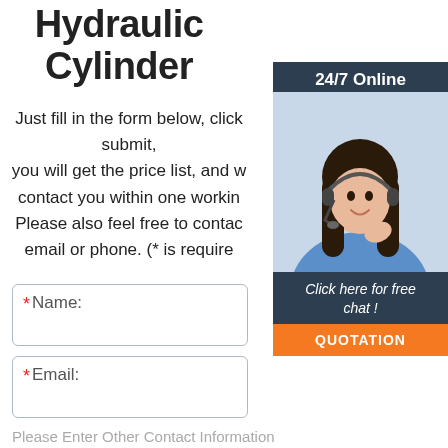Hydraulic Cylinder
Just fill in the form below, click submit, you will get the price list, and we will contact you within one working day. Please also feel free to contact us via email or phone. (* is required)
[Figure (infographic): Customer support widget showing '24/7 Online' header, photo of a woman with headset, 'Click here for free chat!' text, and an orange QUOTATION button]
* Name:
* Email:
Please Enter Other Contact Information
Whatsapp  Wechat  Skype  Viber
Contact information Whatsapp